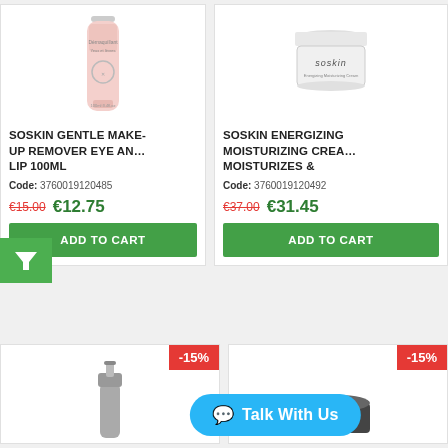[Figure (photo): Product image of Soskin Gentle Make-Up Remover Eye and Lip 100ml bottle (pink/clear bottle)]
SOSKIN GENTLE MAKE-UP REMOVER EYE AN… LIP 100ML
Code: 3760019120485
€15.00  €12.75
ADD TO CART
[Figure (photo): Product image of Soskin Energizing Moisturizing Cream in white jar]
SOSKIN ENERGIZING MOISTURIZING CREA… MOISTURIZES &
Code: 3760019120492
€37.00  €31.45
ADD TO CART
[Figure (photo): Bottom left product image (partial, gray pump bottle)]
-15%
[Figure (photo): Bottom right product image (partial, dark jar)]
-15%
Talk With Us